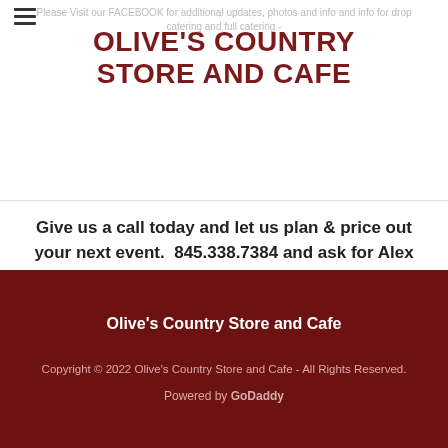Please Visit our FACEBOOK for additional updates, photos and info and info for drop catering and full catering -
OLIVE'S COUNTRY STORE AND CAFE
Give us a call today and let us plan & price out your next event.  845.338.7384 and ask for Alex Stier - or direct to Cell/Text - 518-281-8700
Olive's Country Store and Cafe
Copyright © 2022 Olive's Country Store and Cafe - All Rights Reserved.
Powered by GoDaddy